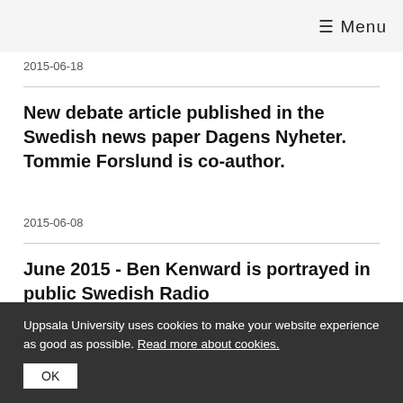≡ Menu
2015-06-18
New debate article published in the Swedish news paper Dagens Nyheter. Tommie Forslund is co-author.
2015-06-08
June 2015 - Ben Kenward is portrayed in public Swedish Radio
2015-06-03
Uppsala University uses cookies to make your website experience as good as possible. Read more about cookies.